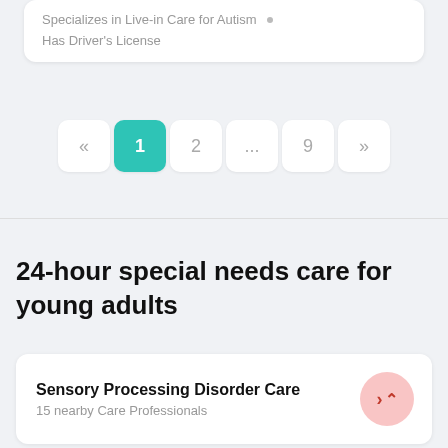Specializes in Live-in Care for Autism
Has Driver's License
« 1 2 ... 9 »
24-hour special needs care for young adults
Sensory Processing Disorder Care
15 nearby Care Professionals